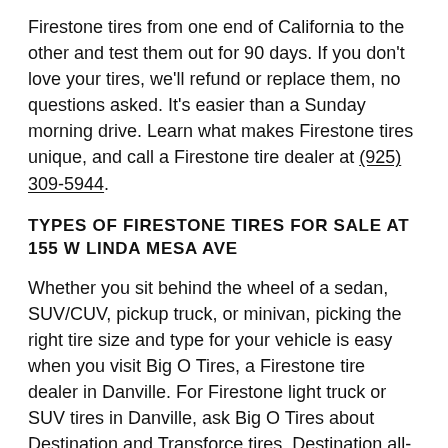Firestone tires from one end of California to the other and test them out for 90 days. If you don't love your tires, we'll refund or replace them, no questions asked. It's easier than a Sunday morning drive. Learn what makes Firestone tires unique, and call a Firestone tire dealer at (925) 309-5944.
TYPES OF FIRESTONE TIRES FOR SALE AT 155 W LINDA MESA AVE
Whether you sit behind the wheel of a sedan, SUV/CUV, pickup truck, or minivan, picking the right tire size and type for your vehicle is easy when you visit Big O Tires, a Firestone tire dealer in Danville. For Firestone light truck or SUV tires in Danville, ask Big O Tires about Destination and Transforce tires. Destination all-season tires have surfaced as one of our best-selling tires for a reason—they're downright dependable throughout the seasons and the tire's tread life. The latest Destination LE3 tire, in particular, is engineered with industry-leading all-season tire technology to give light truck and SUV/CUV drivers a comfortable, quiet